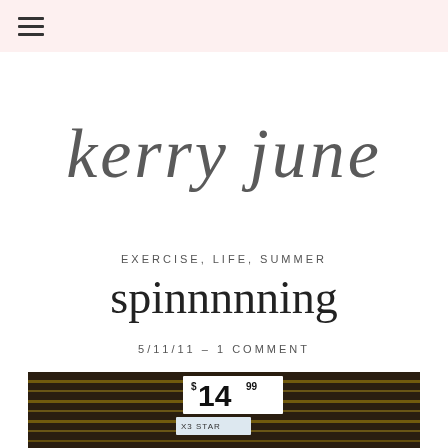≡ (hamburger menu)
[Figure (logo): Handwritten script logo reading 'kerry june' in dark gray brushstroke lettering on white background]
EXERCISE, LIFE, SUMMER
spinnnnning
5/11/11 – 1 COMMENT
[Figure (photo): Photograph of a product with a price tag showing $14.99 and a barcode label with 'X3 STAR' text, dark background]